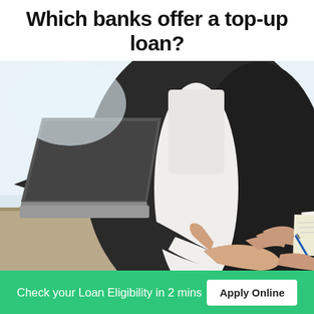Which banks offer a top-up loan?
[Figure (photo): A businessman in a dark suit extending his hand for a handshake across a desk with a laptop and papers, suggesting a loan or financial meeting.]
Check your Loan Eligibility in 2 mins
Apply Online